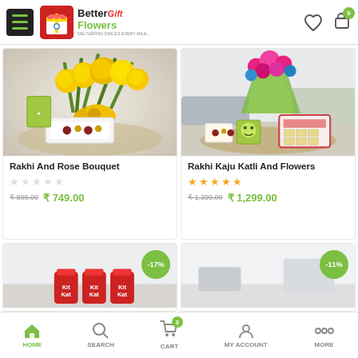Better Gift Flowers - Online shop header with hamburger menu, logo, heart icon and cart with 0 items
[Figure (photo): Rakhi And Rose Bouquet product image - yellow roses bouquet with rakhi on table]
Rakhi And Rose Bouquet
★★★★★ (empty stars)
₹ 899.00  ₹ 749.00
[Figure (photo): Rakhi Kaju Katli And Flowers product image - pink flowers bouquet with sweet box and rakhi]
Rakhi Kaju Katli And Flowers
★★★★★ (filled orange stars)
₹ 1,399.00  ₹ 1,299.00
[Figure (photo): Bottom left product thumbnail with KitKat chocolates, -17% badge]
[Figure (photo): Bottom right product thumbnail with room background, -11% badge]
HOME  SEARCH  CART (0)  MY ACCOUNT  MORE